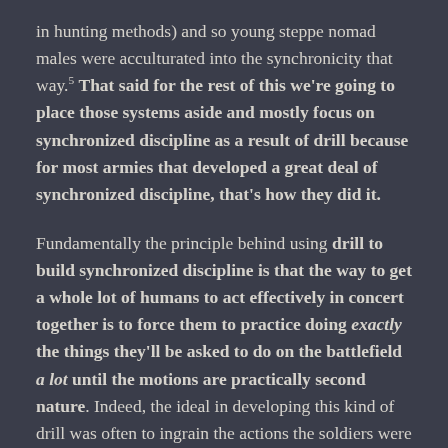in hunting methods) and so young steppe nomad males were acculturated into the synchronicity that way.5 That said for the rest of this we're going to place those systems aside and mostly focus on synchronized discipline as a result of drill because for most armies that developed a great deal of synchronized discipline, that's how they did it.
Fundamentally the principle behind using drill to build synchronized discipline is that the way to get a whole lot of humans to act effectively in concert together is to force them to practice doing exactly the things they'll be asked to do on the battlefield a lot until the motions are practically second nature. Indeed, the ideal in developing this kind of drill was often to ingrain the actions the soldiers were to perform so deeply that